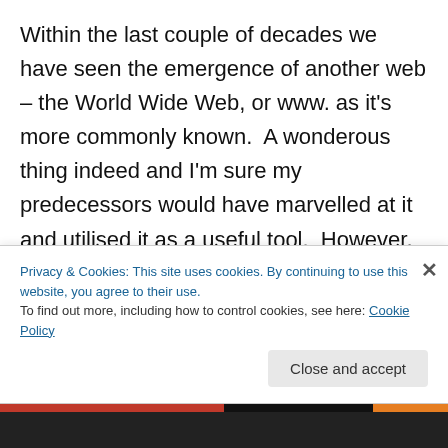Within the last couple of decades we have seen the emergence of another web – the World Wide Web, or www. as it's more commonly known.  A wonderous thing indeed and I'm sure my predecessors would have marvelled at it and utilised it as a useful tool.  However, like many things of power it is two-edged and can also be used as a weapon to abuse others.  Man's invention is astonishing at times but I wonder how much inventors think about the future implications of their discoveries when they fall into the hands of ruthless and irresponsible
Privacy & Cookies: This site uses cookies. By continuing to use this website, you agree to their use.
To find out more, including how to control cookies, see here: Cookie Policy
Close and accept